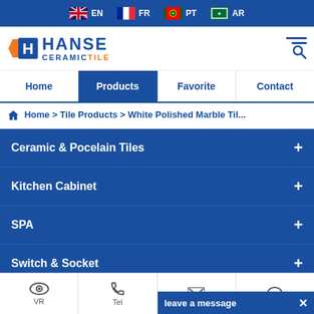EN  FR  PT  AR
[Figure (logo): Hanse CeramicTile logo with hexagon H icon]
Home | Products | Favorite | Contact
Home > Tile Products > White Polished Marble Til...
Ceramic & Pocelain Tiles
Kitchen Cabinet
SPA
Switch & Socket
VR  Tel  Leave a message